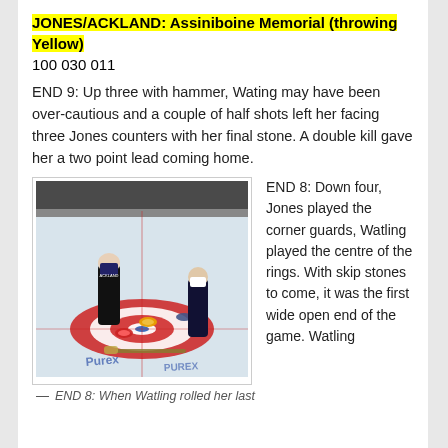JONES/ACKLAND: Assiniboine Memorial (throwing Yellow)
100 030 011
END 9: Up three with hammer, Wating may have been over-cautious and a couple of half shots left her facing three Jones counters with her final stone. A double kill gave her a two point lead coming home.
[Figure (photo): Two curlers standing on a curling rink, viewed from behind, with curling stones visible in the house (rings). The ice shows red and white rings with a blue button. A Purex sponsor logo is visible on the ice.]
— END 8: When Watling rolled her last
END 8: Down four, Jones played the corner guards, Watling played the centre of the rings. With skip stones to come, it was the first wide open end of the game. Watling